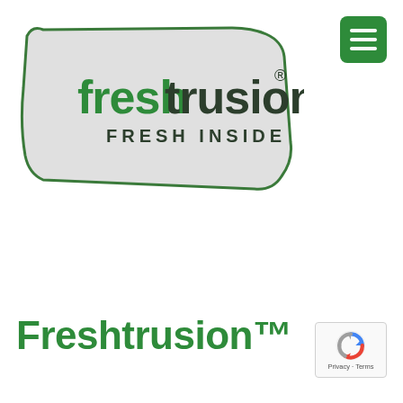[Figure (logo): Freshtrusion logo badge: a rounded pentagon/shield shape with light grey fill and a dark green border. Inside: 'freshtrusion' in bold green/dark text with a registered trademark symbol, and 'FRESH INSIDE' in dark green uppercase spaced letters below.]
[Figure (other): Green rounded square hamburger menu button with three white horizontal lines, positioned top-right corner.]
Freshtrusion™
[Figure (other): Google reCAPTCHA badge icon with 'Privacy · Terms' text below.]